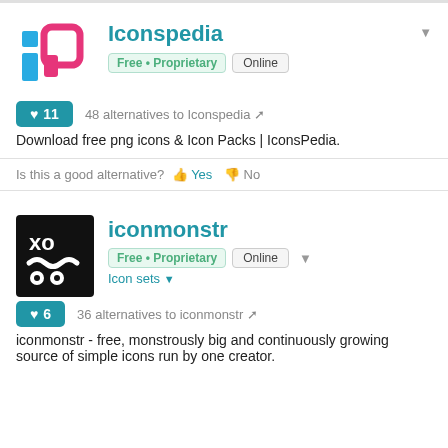[Figure (logo): Iconspedia logo: blue letter i and pink speech bubble P shape]
Iconspedia
Free • Proprietary  Online
♥11  48 alternatives to Iconspedia
Download free png icons & Icon Packs | IconsPedia.
Is this a good alternative? 👍 Yes 👎 No
[Figure (logo): iconmonstr logo: black square with white XO and snake/face graphic]
iconmonstr
Free • Proprietary  Online
Icon sets
♥6  36 alternatives to iconmonstr
iconmonstr - free, monstrously big and continuously growing source of simple icons run by one creator.